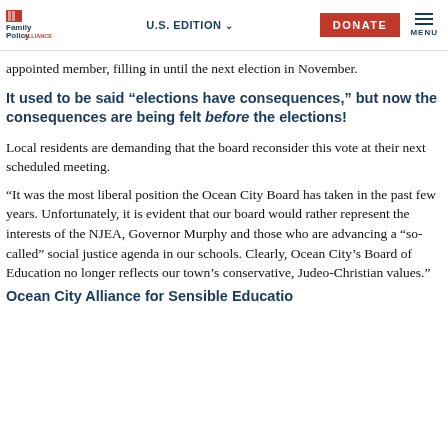Family Policy Alliance | U.S. EDITION | DONATE | MENU
appointed member, filling in until the next election in November.
It used to be said “elections have consequences,” but now the consequences are being felt before the elections!
Local residents are demanding that the board reconsider this vote at their next scheduled meeting.
“It was the most liberal position the Ocean City Board has taken in the past few years. Unfortunately, it is evident that our board would rather represent the interests of the NJEA, Governor Murphy and those who are advancing a “so-called” social justice agenda in our schools. Clearly, Ocean City’s Board of Education no longer reflects our town’s conservative, Judeo-Christian values.”
Ocean City Alliance for Sensible Education